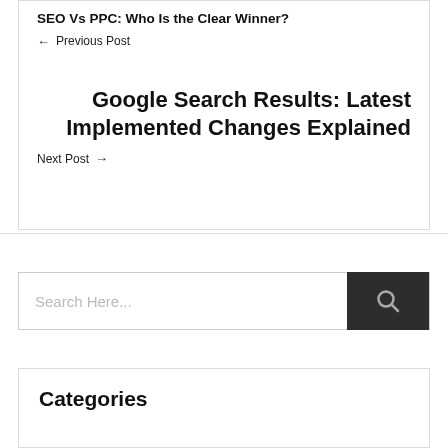SEO Vs PPC: Who Is the Clear Winner?
← Previous Post
Google Search Results: Latest Implemented Changes Explained
Next Post →
Search Here...
Categories